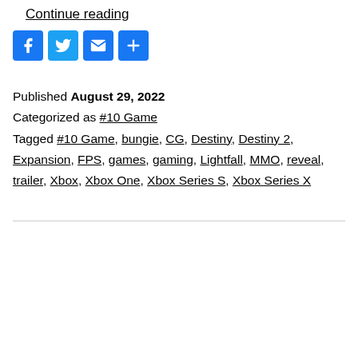Continue reading
[Figure (infographic): Social share buttons: Facebook, Twitter, Email, Share (blue squares with white icons)]
Published August 29, 2022
Categorized as #10 Game
Tagged #10 Game, bungie, CG, Destiny, Destiny 2, Expansion, FPS, games, gaming, Lightfall, MMO, reveal, trailer, Xbox, Xbox One, Xbox Series S, Xbox Series X